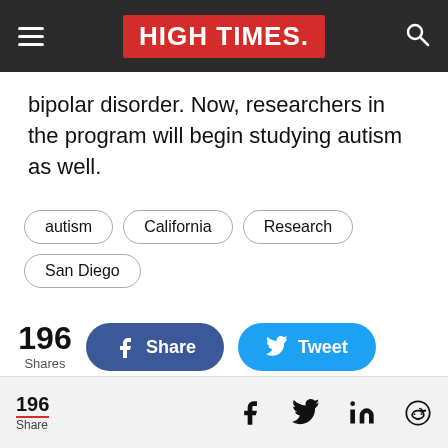HIGH TIMES
bipolar disorder. Now, researchers in the program will begin studying autism as well.
autism
California
Research
San Diego
196 Shares — Share (Facebook) — Tweet
196 Share — Facebook — Twitter — LinkedIn — Reddit